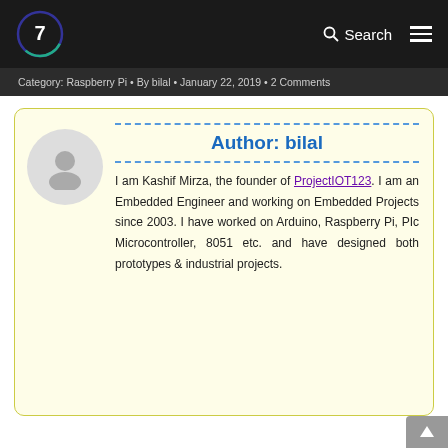7 | Search ☰
Category: Raspberry Pi • By bilal • January 22, 2019 • 2 Comments
Author: bilal
I am Kashif Mirza, the founder of ProjectIOT123. I am an Embedded Engineer and working on Embedded Projects since 2003. I have worked on Arduino, Raspberry Pi, PIc Microcontroller, 8051 etc. and have designed both prototypes & industrial projects.